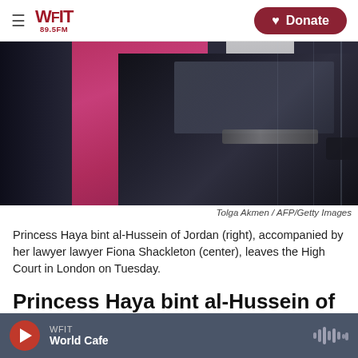WFIT 89.5FM — Donate
[Figure (photo): Princess Haya bint al-Hussein of Jordan (right) and her lawyer Fiona Shackleton (center) leaving the High Court in London, walking near a black car. Woman in magenta/pink coat visible in center.]
Tolga Akmen / AFP/Getty Images
Princess Haya bint al-Hussein of Jordan (right), accompanied by her lawyer lawyer Fiona Shackleton (center), leaves the High Court in London on Tuesday.
Princess Haya bint al-Hussein of Jordan, one of six
WFIT — World Cafe